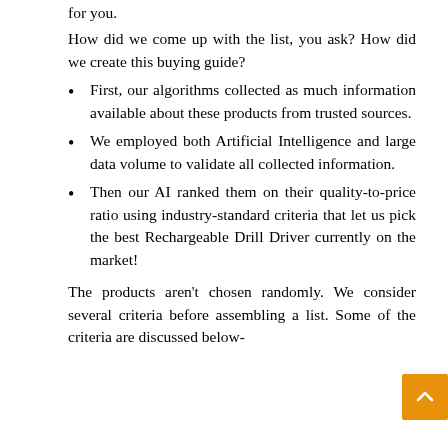for you.
How did we come up with the list, you ask? How did we create this buying guide?
First, our algorithms collected as much information available about these products from trusted sources.
We employed both Artificial Intelligence and large data volume to validate all collected information.
Then our AI ranked them on their quality-to-price ratio using industry-standard criteria that let us pick the best Rechargeable Drill Driver currently on the market!
The products aren't chosen randomly. We consider several criteria before assembling a list. Some of the criteria are discussed below-